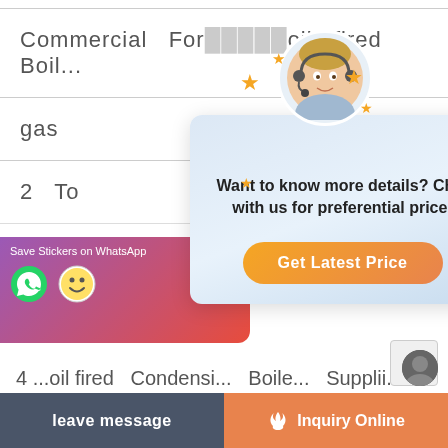Commercial For ... oil fired Boil...
gas ... ea...
2 To ... tri...
stair ... su...
[Figure (screenshot): Chat popup with customer service representative avatar, stars, text 'Want to know more details? Chat with us for preferential price!' and orange 'Get Latest Price' button]
1t oil fired Boiler Brand Commercial Tajikistan
[Figure (screenshot): WhatsApp sticker banner with purple-red gradient, Save Stickers on WhatsApp text, WhatsApp and emoji icons]
4 ... oil fired Condensi... Boile... Supplii...
leave message
Inquiry Online